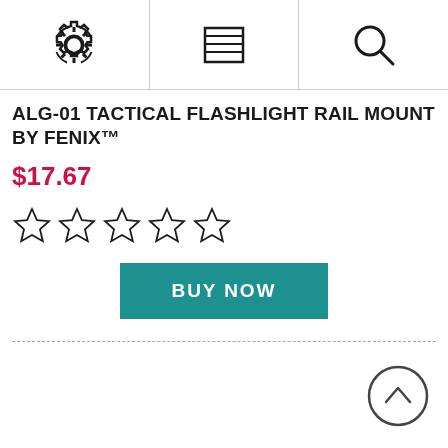Navigation bar with settings, menu, and search icons
ALG-01 TACTICAL FLASHLIGHT RAIL MOUNT BY FENIX™
$17.67
[Figure (other): Five empty star rating icons (0 out of 5 stars)]
BUY NOW
[Figure (other): Back-to-top circular arrow button in bottom right corner]